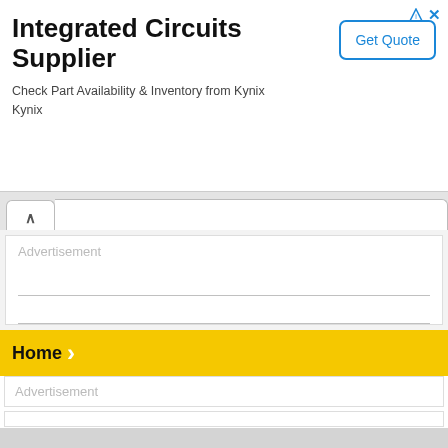Integrated Circuits Supplier
Check Part Availability & Inventory from Kynix Kynix
[Figure (screenshot): Get Quote button with blue border]
[Figure (screenshot): Tab panel with up chevron]
Advertisement
Home
Advertisement